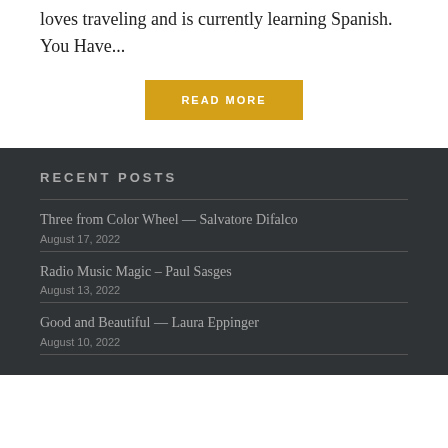loves traveling and is currently learning Spanish.  You Have...
READ MORE
RECENT POSTS
Three from Color Wheel — Salvatore Difalco
August 17, 2022
Radio Music Magic – Paul Sasges
August 13, 2022
Good and Beautiful — Laura Eppinger
August 10, 2022